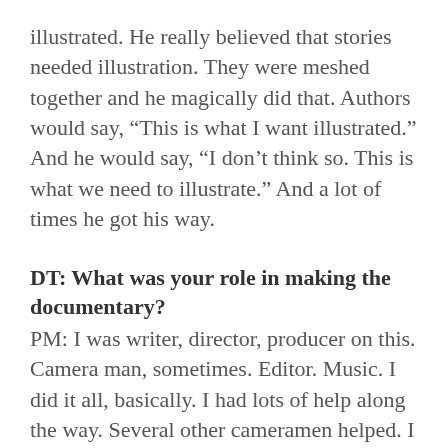illustrated. He really believed that stories needed illustration. They were meshed together and he magically did that. Authors would say, “This is what I want illustrated.” And he would say, “I don’t think so. This is what we need to illustrate.” And a lot of times he got his way.
DT: What was your role in making the documentary?
PM: I was writer, director, producer on this. Camera man, sometimes. Editor. Music. I did it all, basically. I had lots of help along the way. Several other cameramen helped. I had crew members, as well. But as far as the whole kit and caboodle, I would say it was my project.